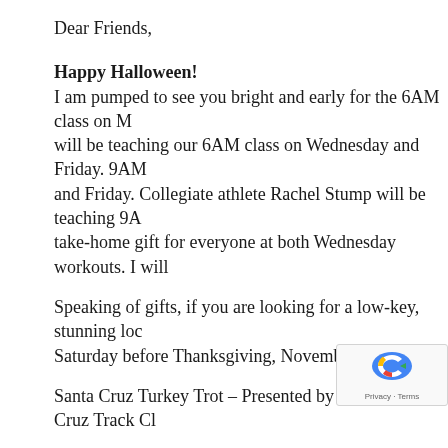Dear Friends,
Happy Halloween!
I am pumped to see you bright and early for the 6AM class on M will be teaching our 6AM class on Wednesday and Friday. 9AM and Friday. Collegiate athlete Rachel Stump will be teaching 9A take-home gift for everyone at both Wednesday workouts. I will
Speaking of gifts, if you are looking for a low-key, stunning loc Saturday before Thanksgiving, November 23rd.
Santa Cruz Turkey Trot – Presented by the Santa Cruz Track Cl
10K and 5K Courses & 1K Kids run
Only $20 dollars and along the beautiful coastline at Natural Br
Couture Conditioning GIFT Bags are being assemble one for you!